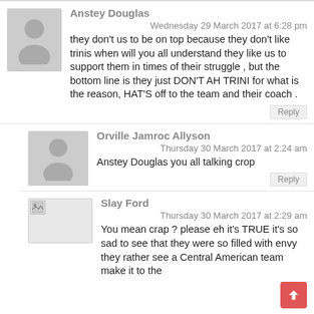Anstey Douglas
Wednesday 29 March 2017 at 6:28 pm
they don't us to be on top because they don't like trinis when will you all understand they like us to support them in times of their struggle , but the bottom line is they just DON'T AH TRINI for what is the reason, HAT'S off to the team and their coach .
Reply
Orville Jamroc Allyson
Thursday 30 March 2017 at 2:24 am
Anstey Douglas you all talking crop
Reply
Slay Ford
Thursday 30 March 2017 at 2:29 am
You mean crap ? please eh it's TRUE it's so sad to see that they were so filled with envy they rather see a Central American team make it to the